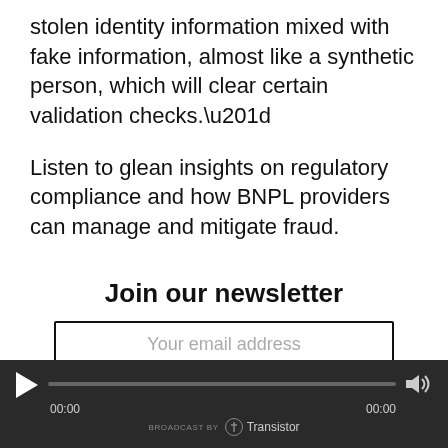stolen identity information mixed with fake information, almost like a synthetic person, which will clear certain validation checks.”
Listen to glean insights on regulatory compliance and how BNPL providers can manage and mitigate fraud.
Join our newsletter
Your email address
[Figure (other): Audio player widget with play button, progress bar, volume icon, timestamps 00:00 and 00:00, and Transistor broadcast branding on dark background]